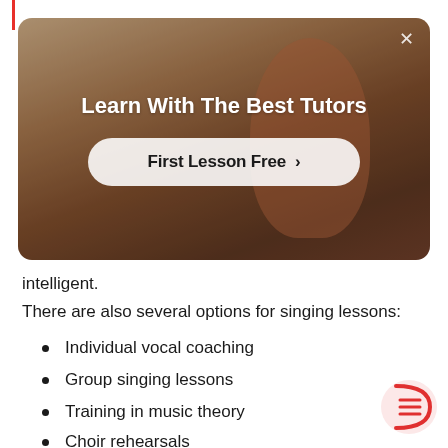[Figure (screenshot): Modal advertisement card with a warm-toned background showing a person in motion. White text reads 'Learn With The Best Tutors' and a white rounded button says 'First Lesson Free ›'. A close (×) button is in the top-right corner.]
intelligent.
There are also several options for singing lessons:
Individual vocal coaching
Group singing lessons
Training in music theory
Choir rehearsals